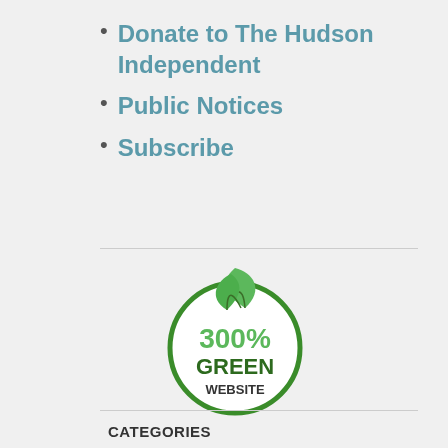Donate to The Hudson Independent
Public Notices
Subscribe
[Figure (logo): 300% Green Website circular logo with a green leaf on top of a circle outline, text inside reads '300% GREEN WEBSITE']
CATEGORIES
Community News 1,516